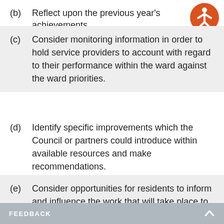(b)  Reflect upon the previous year's achievements
(c)  Consider monitoring information in order to hold service providers to account with regard to their performance within the ward against the ward priorities.
(d)  Identify specific improvements which the Council or partners could introduce within available resources and make recommendations.
(e)  Consider opportunities for residents to inform and influence the work that will take place to address ward priorities and for communities to deliver services where practicable and appropriate that contribute to those priorities.
FEEDBACK